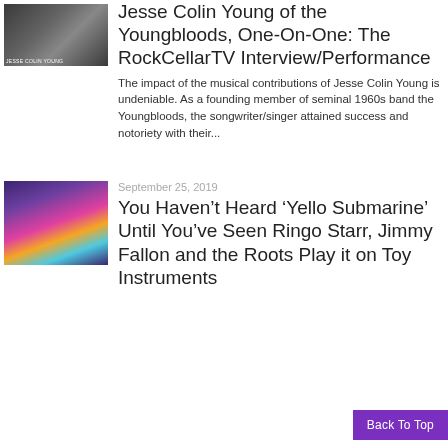[Figure (photo): Jesse Colin Young playing guitar, seated, with text overlay 'JESSE COLIN YOUNG' at bottom]
Jesse Colin Young of the Youngbloods, One-On-One: The RockCellarTV Interview/Performance
The impact of the musical contributions of Jesse Colin Young is undeniable. As a founding member of seminal 1960s band the Youngbloods, the songwriter/singer attained success and notoriety with their...
September 25, 2019
[Figure (photo): Group photo with Ringo Starr, Jimmy Fallon and the Roots on a colorful stage set]
You Haven't Heard 'Yello Submarine' Until You've Seen Ringo Starr, Jimmy Fallon and the Roots Play it on Toy Instruments